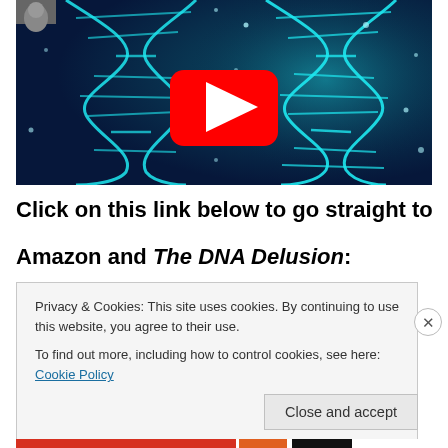[Figure (screenshot): YouTube video thumbnail showing a glowing teal DNA double helix on a dark blue background, with a red YouTube play button in the center and a partial avatar in the top-left corner.]
Click on this link below to go straight to
Amazon and The DNA Delusion:
Privacy & Cookies: This site uses cookies. By continuing to use this website, you agree to their use.
To find out more, including how to control cookies, see here: Cookie Policy
Close and accept